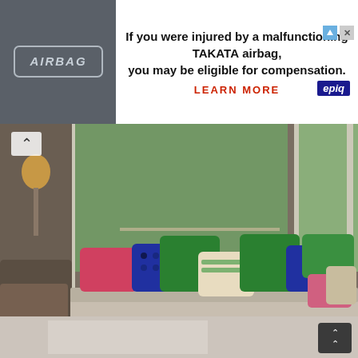[Figure (screenshot): Advertisement banner: AIRBAG label on car interior on left; text reads 'If you were injured by a malfunctioning TAKATA airbag, you may be eligible for compensation. LEARN MORE' with epiq logo bottom right]
[Figure (photo): Interior photo of a window seat bench with colorful decorative pillows (green, navy, pink, cream patterns) and white storage drawers beneath; large windows overlooking trees in background]
Window seat cushions choose right cushion
[Figure (photo): Partial view of another interior room photo at bottom of page with scroll-up button in bottom right corner]